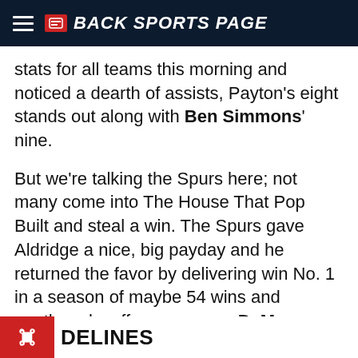BACK SPORTS PAGE
stats for all teams this morning and noticed a dearth of assists, Payton's eight stands out along with Ben Simmons' nine.
But we're talking the Spurs here; not many come into The House That Pop Built and steal a win. The Spurs gave Aldridge a nice, big payday and he returned the favor by delivering win No. 1 in a season of maybe 54 wins and another playoff appearance. DeMar DeRozan and Rudy Gay chipped in 13 apiece for good measure.
The Spurs will always be who they are, but don't write the Knicks off just yet.
DELINES